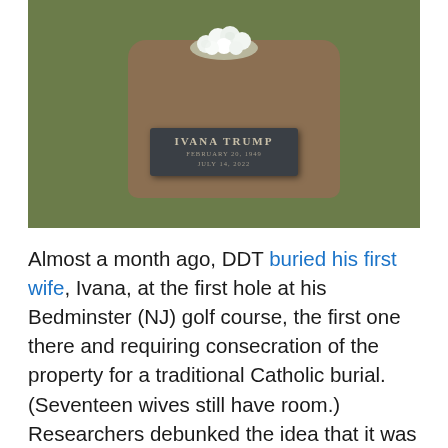[Figure (photo): A grave site at a golf course showing a dark stone marker reading 'IVANA TRUMP / FEBRUARY 20, 1949 / JULY 14, 2022' with white flowers at the head of the grave and grass surrounding a dirt mound.]
Almost a month ago, DDT buried his first wife, Ivana, at the first hole at his Bedminster (NJ) golf course, the first one there and requiring consecration of the property for a traditional Catholic burial. (Seventeen wives still have room.) Researchers debunked the idea that it was done for a tax break by saying the cemetery taxes waived only 5,700 square feet of land. One assumption is that DDT did it because he loves northern New Jersey. He's also